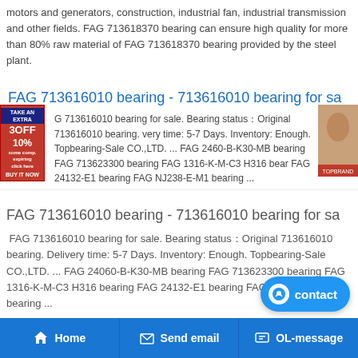motors and generators, construction, industrial fan, industrial transmission and other fields. FAG 713618370 bearing can ensure high quality for more than 80% raw material of FAG 713618370 bearing provided by the steel plant.
FAG 713616010 bearing - 713616010 bearing for sa
FAG 713616010 bearing for sale. Bearing status Original 713616010 bearing. Delivery time: 5-7 Days. Inventory: Enough. Topbearing-Sale CO.,LTD. ... FAG 24060-B-K30-MB bearing FAG 713623300 bearing FAG 1316-K-M-C3 H316 bearing FAG 24132-E1 bearing FAG NJ238-E-M1 bearing ...
FAG 713616010 bearing - 713616010 bearing for sa
FAG 713616010 bearing for sale. Bearing status Original 713616010 bearing. Delivery time: 5-7 Days. Inventory: Enough. Topbearing-Sale CO.,LTD. ... FAG 24060-B-K30-MB bearing FAG 713623300 bearing FAG 1316-K-M-C3 H316 bearing FAG 24132-E1 bearing FAG NJ238-E-M1 bearing ...
FAG 713630140 bearing supply-Best Price And 5 - 7 Da
FAG 713630140 bearing supply:find best in Malaysia,can ensure high quality for...
Home   Send email   OL-message